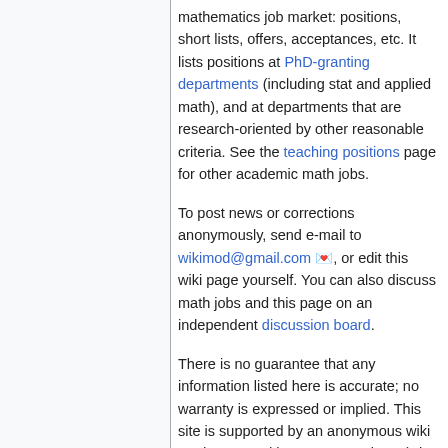mathematics job market: positions, short lists, offers, acceptances, etc. It lists positions at PhD-granting departments (including stat and applied math), and at departments that are research-oriented by other reasonable criteria. See the teaching positions page for other academic math jobs.
To post news or corrections anonymously, send e-mail to wikimod@gmail.com, or edit this wiki page yourself. You can also discuss math jobs and this page on an independent discussion board.
There is no guarantee that any information listed here is accurate; no warranty is expressed or implied. This site is supported by an anonymous wiki moderator and by Greg Kuperberg (who is recused from reading e-mail to wikimod). UC Davis and the UC Davis Math Department do not endorse this project and disavow any responsibility for the information on this wiki.
Requests from the maintainers: